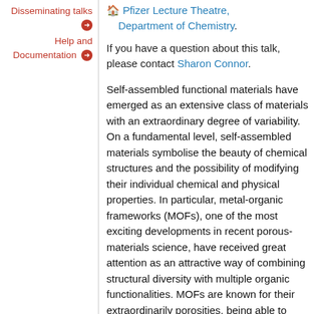Disseminating talks →
Help and Documentation →
🏠 Pfizer Lecture Theatre, Department of Chemistry.
If you have a question about this talk, please contact Sharon Connor.
Self-assembled functional materials have emerged as an extensive class of materials with an extraordinary degree of variability. On a fundamental level, self-assembled materials symbolise the beauty of chemical structures and the possibility of modifying their individual chemical and physical properties. In particular, metal-organic frameworks (MOFs), one of the most exciting developments in recent porous-materials science, have received great attention as an attractive way of combining structural diversity with multiple organic functionalities. MOFs are known for their extraordinarily porosities, being able to reach